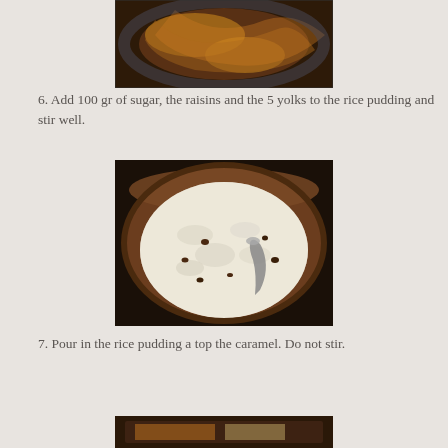[Figure (photo): A baking dish with dark caramel and golden custard swirled together, viewed from above.]
6. Add 100 gr of sugar, the raisins and the 5 yolks to the rice pudding and stir well.
[Figure (photo): A round clay pot filled with creamy white rice pudding mixed with raisins, with a spoon inserted.]
7. Pour in the rice pudding a top the caramel. Do not stir.
[Figure (photo): Partial view of a baking dish, beginning of the next step.]